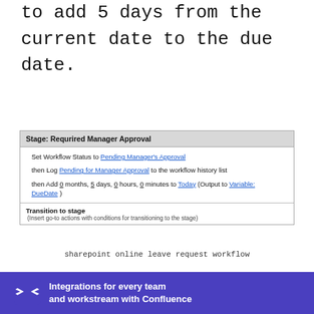Due Date and add an action in order to add 5 days from the current date to the due date.
[Figure (screenshot): SharePoint workflow stage screenshot showing 'Stage: Requrired Manager Approval' with actions: Set Workflow Status to Pending Manager's Approval, Log Pending for Manager Approval to the workflow history list, Add 0 months, 5 days, 0 hours, 0 minutes to Today (Output to Variable: DueDate), and a Transition to stage section.]
sharepoint online leave request workflow
Step 10: Create a task where we will assign a task to a specific person for approval
[Figure (infographic): Confluence ad banner: Integrations for every team and workstream with Confluence]